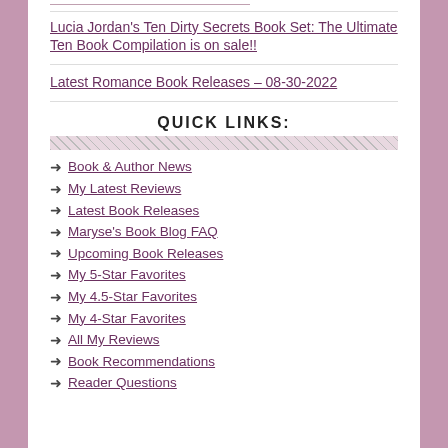Lucia Jordan's Ten Dirty Secrets Book Set: The Ultimate Ten Book Compilation is on sale!!
Latest Romance Book Releases – 08-30-2022
QUICK LINKS:
Book & Author News
My Latest Reviews
Latest Book Releases
Maryse's Book Blog FAQ
Upcoming Book Releases
My 5-Star Favorites
My 4.5-Star Favorites
My 4-Star Favorites
All My Reviews
Book Recommendations
Reader Questions